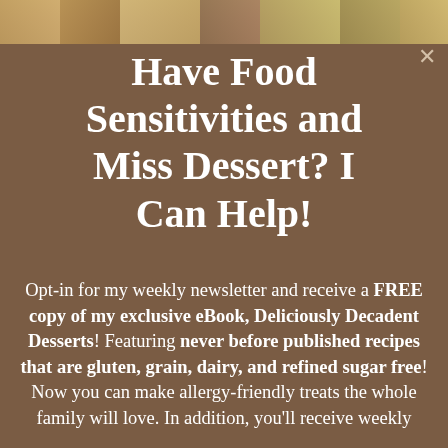[Figure (photo): Partial photo strip at the top of the page showing food or dessert items in warm brown/golden tones]
Have Food Sensitivities and Miss Dessert? I Can Help!
Opt-in for my weekly newsletter and receive a FREE copy of my exclusive eBook, Deliciously Decadent Desserts! Featuring never before published recipes that are gluten, grain, dairy, and refined sugar free! Now you can make allergy-friendly treats the whole family will love. In addition, you'll receive weekly